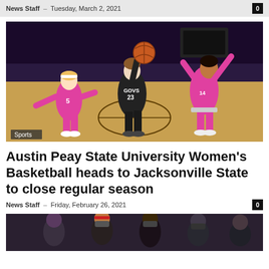News Staff – Tuesday, March 2, 2021
[Figure (photo): Women's basketball game photo showing player in black GOVS #23 jersey driving to the basket while defended by players in pink jerseys. Sports label overlay in bottom left.]
Austin Peay State University Women's Basketball heads to Jacksonville State to close regular season
News Staff – Friday, February 26, 2021
[Figure (photo): Women's basketball team huddle photo, partially visible at bottom of page.]